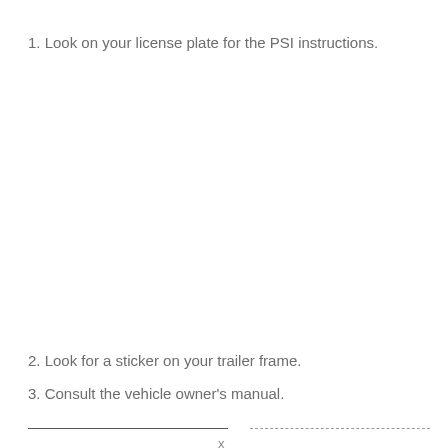1. Look on your license plate for the PSI instructions.
2. Look for a sticker on your trailer frame.
3. Consult the vehicle owner's manual.